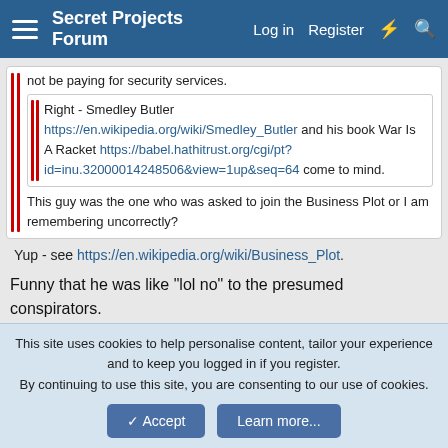Secret Projects Forum  Log in  Register
not be paying for security services.
Right - Smedley Butler https://en.wikipedia.org/wiki/Smedley_Butler and his book War Is A Racket https://babel.hathitrust.org/cgi/pt?id=inu.32000014248506&view=1up&seq=64 come to mind.
This guy was the one who was asked to join the Business Plot or I am remembering uncorrectly?
Yup - see https://en.wikipedia.org/wiki/Business_Plot.
Funny that he was like "lol no" to the presumed conspirators.
martinbayer
This site uses cookies to help personalise content, tailor your experience and to keep you logged in if you register.
By continuing to use this site, you are consenting to our use of cookies.